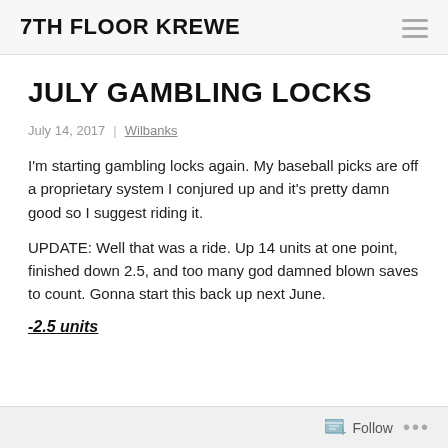7TH FLOOR KREWE
JULY GAMBLING LOCKS
July 14, 2017  |  Wilbanks
I'm starting gambling locks again.  My baseball picks are off a proprietary system I conjured up and it's pretty damn good so I suggest riding it.
UPDATE: Well that was a ride.  Up 14 units at one point, finished down 2.5, and too many god damned blown saves to count.  Gonna start this back up next June.
-2.5 units
Follow